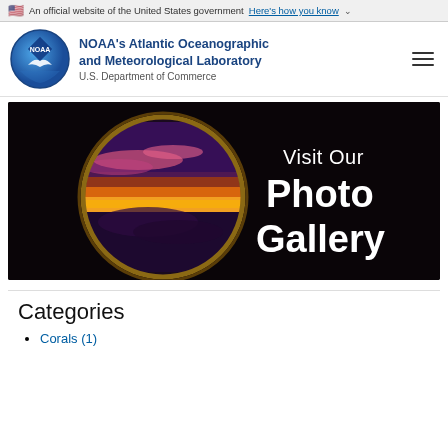An official website of the United States government Here's how you know ▾
[Figure (logo): NOAA circular logo with bird silhouette in blue]
NOAA's Atlantic Oceanographic and Meteorological Laboratory
U.S. Department of Commerce
[Figure (photo): Photo gallery promotional banner showing a circular airplane window view of a dramatic purple and orange sunset over clouds, with text 'Visit Our Photo Gallery' on black background]
Categories
Corals (1)